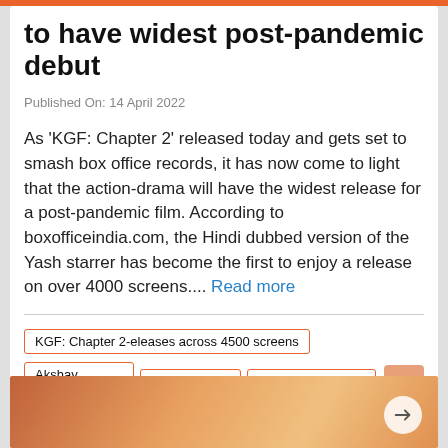to have widest post-pandemic debut
Published On: 14 April 2022
As 'KGF: Chapter 2' released today and gets set to smash box office records, it has now come to light that the action-drama will have the widest release for a post-pandemic film. According to boxofficeindia.com, the Hindi dubbed version of the Yash starrer has become the first to enjoy a release on over 4000 screens.... Read more
KGF: Chapter 2-eleases across 4500 screens
Akshay Kumar's
Sooryavanshi
boxofficeindia.com
[Figure (photo): Blurred warm-toned photo at the bottom of the card, likely a movie scene or actor image]